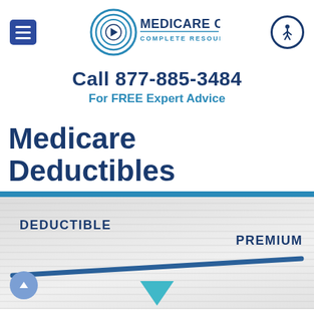[Figure (logo): Medicare on Video - Complete Resource Center logo with circular play button icon and navigation elements (hamburger menu and accessibility icon)]
Call 877-885-3484
For FREE Expert Advice
Medicare Deductibles
[Figure (infographic): Seesaw/balance scale infographic showing DEDUCTIBLE on the left side (lower) and PREMIUM on the right side (higher), with a teal triangle fulcrum, illustrating the inverse relationship between deductibles and premiums. Striped grey background.]